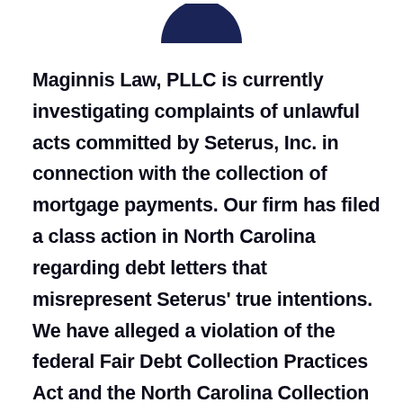[Figure (logo): Partial view of Maginnis Law PLLC logo — dark navy circular/shield shape, cropped at top]
Maginnis Law, PLLC is currently investigating complaints of unlawful acts committed by Seterus, Inc. in connection with the collection of mortgage payments. Our firm has filed a class action in North Carolina regarding debt letters that misrepresent Seterus' true intentions. We have alleged a violation of the federal Fair Debt Collection Practices Act and the North Carolina Collection Agency Act. That class action lawsuit is pending in the United States Federal District Court for the Middle District of North Carolina and seeks to represent all of Seterus' customers who